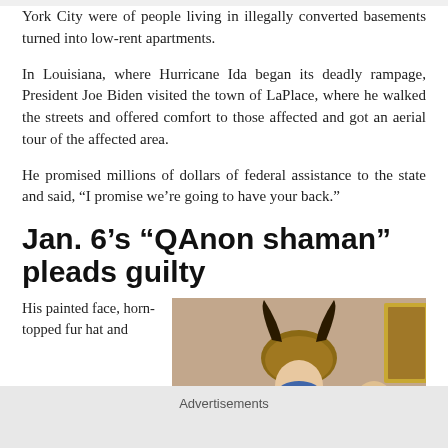York City were of people living in illegally converted basements turned into low-rent apartments.
In Louisiana, where Hurricane Ida began its deadly rampage, President Joe Biden visited the town of LaPlace, where he walked the streets and offered comfort to those affected and got an aerial tour of the affected area.
He promised millions of dollars of federal assistance to the state and said, “I promise we’re going to have your back.”
Jan. 6’s “QAnon shaman” pleads guilty
His painted face, horn-topped fur hat and
[Figure (photo): Photo of the QAnon shaman (man with painted face and horned fur hat) inside the US Capitol, surrounded by other individuals.]
Advertisements